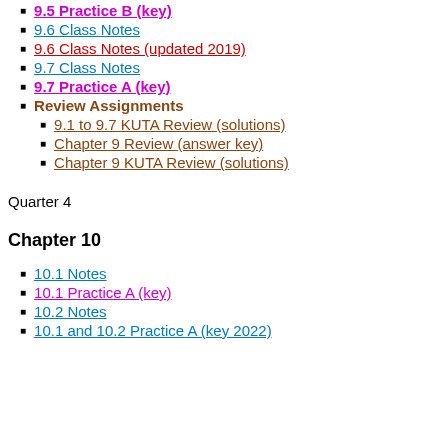9.5 Practice B (key)
9.6 Class Notes
9.6 Class Notes (updated 2019)
9.7 Class Notes
9.7 Practice A (key)
Review Assignments
9.1 to 9.7 KUTA Review (solutions)
Chapter 9 Review (answer key)
Chapter 9 KUTA Review (solutions)
Quarter 4
Chapter 10
10.1 Notes
10.1 Practice A (key)
10.2 Notes
10.1 and 10.2 Practice A (key 2022)